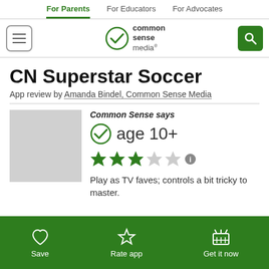For Parents | For Educators | For Advocates
[Figure (logo): Common Sense Media logo with green checkmark circle]
CN Superstar Soccer
App review by Amanda Bindel, Common Sense Media
Common Sense says
age 10+
3 out of 5 stars rating
Play as TV faves; controls a bit tricky to master.
Save | Rate app | Get it now